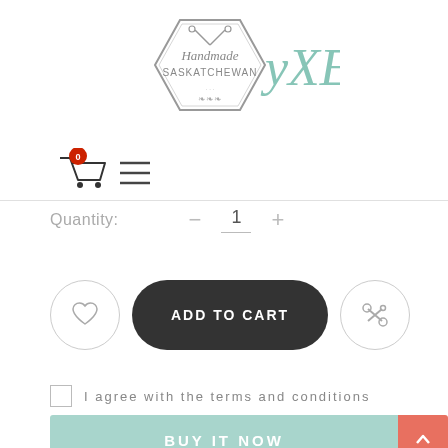[Figure (logo): Handmade Saskatchewan YXE logo with hexagon badge and cursive YXE text in teal]
[Figure (screenshot): Shopping cart icon with red badge showing 0, and hamburger menu icon]
Quantity: — 1 +
[Figure (screenshot): Heart icon circle, ADD TO CART dark button, and share/scissors icon circle]
I agree with the terms and conditions
[Figure (screenshot): BUY IT NOW button in mint/teal color and back-to-top button in coral/salmon]